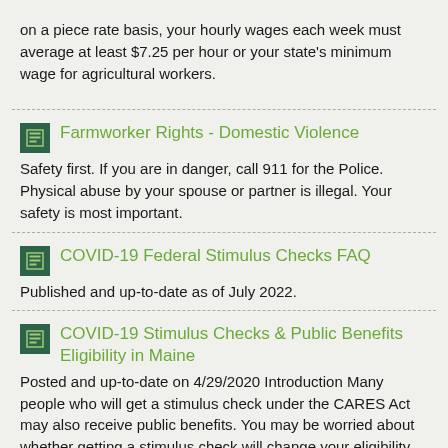on a piece rate basis, your hourly wages each week must average at least $7.25 per hour or your state's minimum wage for agricultural workers.
Farmworker Rights - Domestic Violence
Safety first. If you are in danger, call 911 for the Police. Physical abuse by your spouse or partner is illegal. Your safety is most important.
COVID-19 Federal Stimulus Checks FAQ
Published and up-to-date as of July 2022.
COVID-19 Stimulus Checks & Public Benefits Eligibility in Maine
Posted and up-to-date on 4/29/2020 Introduction Many people who will get a stimulus check under the CARES Act may also receive public benefits. You may be worried about whether getting a stimulus check will change your eligibility for public benefits.